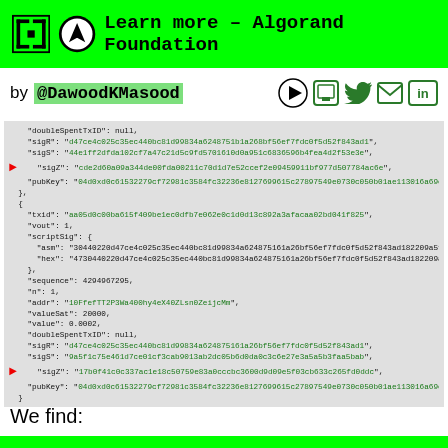Learn more – Algorand Foundation
by @DawoodKMasood
[Figure (screenshot): JSON code block showing double-spend transaction data with fields: doubleSpentTxID, sigR, sigS, sigZ (highlighted with red arrow), pubKey, txid, vout, scriptSig (asm, hex), sequence, n, addr, valueSat, value, doubleSpentTxID, sigR, sigS, sigZ (highlighted with red arrow), pubKey]
We find: